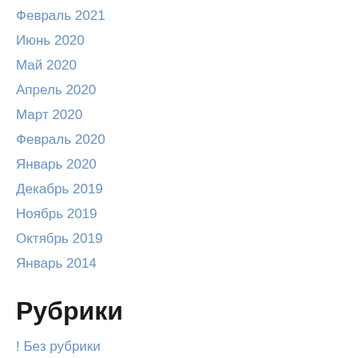Февраль 2021
Июнь 2020
Май 2020
Апрель 2020
Март 2020
Февраль 2020
Январь 2020
Декабрь 2019
Ноябрь 2019
Октябрь 2019
Январь 2014
Рубрики
! Без рубрики